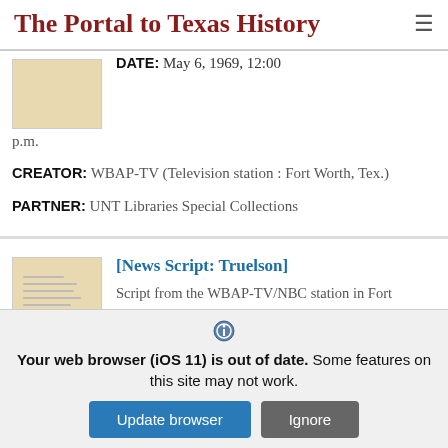The Portal to Texas History
DATE: May 6, 1969, 12:00 p.m.
CREATOR: WBAP-TV (Television station : Fort Worth, Tex.)
PARTNER: UNT Libraries Special Collections
[News Script: Truelson]
Script from the WBAP-TV/NBC station in Fort
Your web browser (iOS 11) is out of date. Some features on this site may not work.